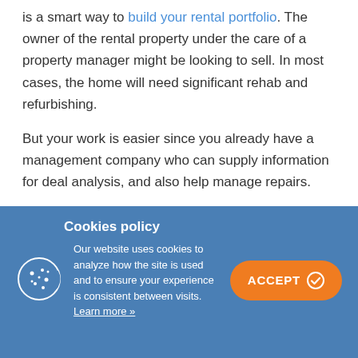is a smart way to build your rental portfolio. The owner of the rental property under the care of a property manager might be looking to sell. In most cases, the home will need significant rehab and refurbishing.
But your work is easier since you already have a management company who can supply information for deal analysis, and also help manage repairs.
Cookies policy
Our website uses cookies to analyze how the site is used and to ensure your experience is consistent between visits. Learn more »